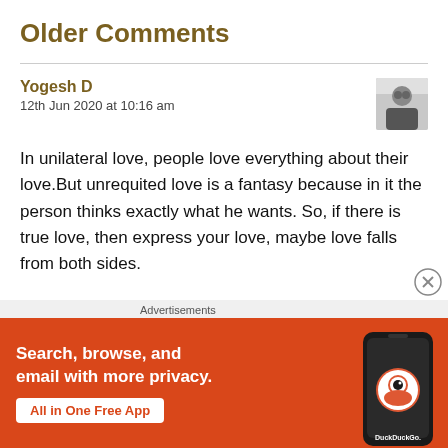Older Comments
Yogesh D
12th Jun 2020 at 10:16 am
In unilateral love, people love everything about their love.But unrequited love is a fantasy because in it the person thinks exactly what he wants. So, if there is true love, then express your love, maybe love falls from both sides.
You wrote very well, congratulations to you
[Figure (infographic): DuckDuckGo advertisement banner with orange background. Text reads: 'Search, browse, and email with more privacy. All in One Free App'. Shows a smartphone with DuckDuckGo logo.]
Advertisements